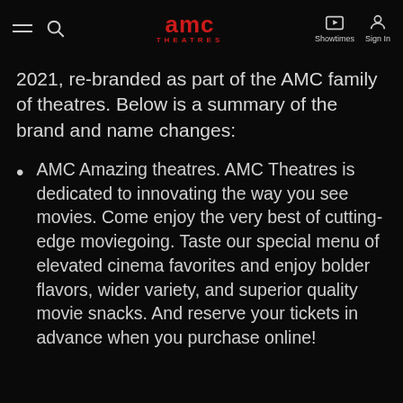AMC Theatres — navigation bar with hamburger menu, search, Showtimes, and Sign In
2021, re-branded as part of the AMC family of theatres. Below is a summary of the brand and name changes:
AMC Amazing theatres. AMC Theatres is dedicated to innovating the way you see movies. Come enjoy the very best of cutting-edge moviegoing. Taste our special menu of elevated cinema favorites and enjoy bolder flavors, wider variety, and superior quality movie snacks. And reserve your tickets in advance when you purchase online!